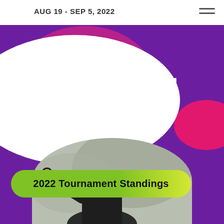AUG 19 - SEP 5, 2022
PeeWee Baseball Tournament
2022 Tournament Standings
[Figure (photo): Young baseball player in a black cap and dark jacket in a pitching stance, photographed outdoors]